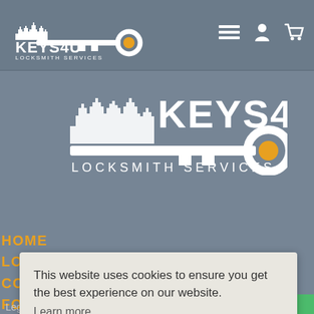[Figure (logo): Keys4U Locksmith Services logo in header - white key icon with skyline silhouette and yellow key head, white text 'KEYS4U LOCKSMITH SERVICES']
[Figure (logo): Large Keys4U Locksmith Services logo in banner area - white skyline silhouette with key, 'KEYS4U' and 'LOCKSMITH SERVICES' in white text, yellow key head circle]
HOME
LOCKSMITH PRICES
CONTACT
This website uses cookies to ensure you get the best experience on our website. Learn more
Got it!
Legal